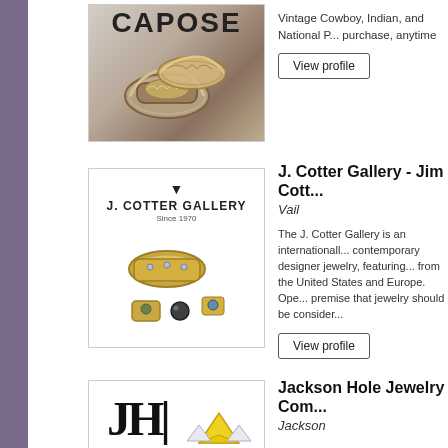[Figure (photo): CAPOSE branded jewelry image showing ornate silver/gold cuff bracelets]
Vintage Cowboy, Indian, and National P... purchase, anytime
View profile
[Figure (photo): J. Cotter Gallery logo and jewelry image showing gold cuff and gemstone pieces]
J. Cotter Gallery - Jim Cott...
Vail
The J. Cotter Gallery is an internationall... contemporary designer jewelry, featuring... from the United States and Europe. Ope... premise that jewelry should be consider...
View profile
[Figure (photo): Jackson Hole Jewelry Company logo showing JH monogram and yellow diamond ring]
Jackson Hole Jewelry Com...
Jackson
Jackson Hole Jewelry Company is a full... our original Teton jewelry designs. Our w... include our Teton Stacking Rings, the W... Tiny Teton collection. At Jackson Hole...